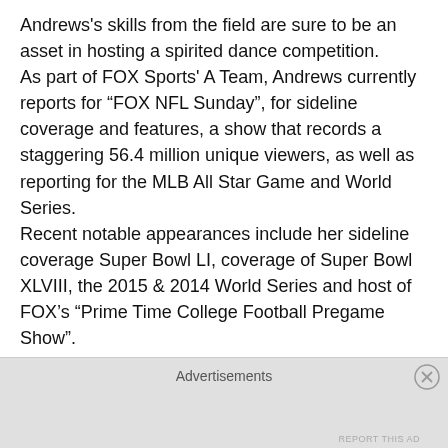Andrews's skills from the field are sure to be an asset in hosting a spirited dance competition. As part of FOX Sports' A Team, Andrews currently reports for “FOX NFL Sunday”, for sideline coverage and features, a show that records a staggering 56.4 million unique viewers, as well as reporting for the MLB All Star Game and World Series. Recent notable appearances include her sideline coverage Super Bowl LI, coverage of Super Bowl XLVIII, the 2015 & 2014 World Series and host of FOX’s “Prime Time College Football Pregame Show”.
Maria Lucia Hohan has become the starlet’s go-to designer, gracing Hollywood A-Listers at major award shows, premieres, and red carpet events.
Advertisements